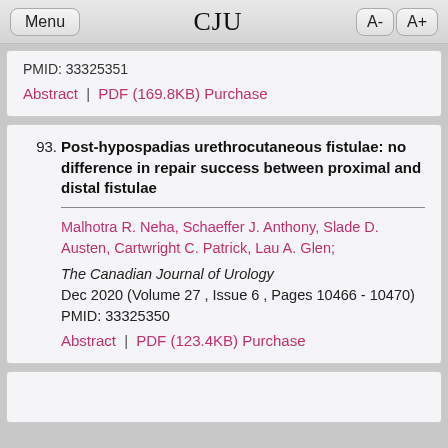Menu | CJU | A- A+
PMID: 33325351
Abstract | PDF (169.8KB) Purchase
93. Post-hypospadias urethrocutaneous fistulae: no difference in repair success between proximal and distal fistulae — Malhotra R. Neha, Schaeffer J. Anthony, Slade D. Austen, Cartwright C. Patrick, Lau A. Glen; The Canadian Journal of Urology — Dec 2020 (Volume 27 , Issue 6 , Pages 10466 - 10470) — PMID: 33325350 — Abstract | PDF (123.4KB) Purchase